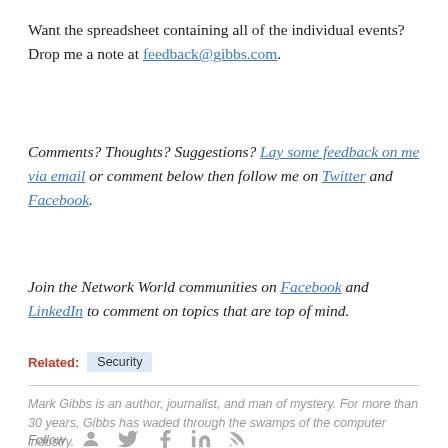Want the spreadsheet containing all of the individual events? Drop me a note at feedback@gibbs.com.
Comments? Thoughts? Suggestions? Lay some feedback on me via email or comment below then follow me on Twitter and Facebook.
Join the Network World communities on Facebook and LinkedIn to comment on topics that are top of mind.
Related: Security
Mark Gibbs is an author, journalist, and man of mystery. For more than 30 years, Gibbs has waded through the swamps of the computer industry.
Follow